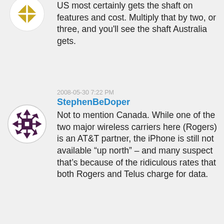[Figure (illustration): Circular avatar with gold/yellow diamond pattern on white background - partially visible at top]
Don't complain you. The US most certainly gets the shaft on features and cost. Multiply that by two, or three, and you'll see the shaft Australia gets.
[Figure (illustration): Circular avatar with dark purple/maroon geometric star/snowflake pattern on white background]
2008-05-30 7:22 PM
StephenBeDoper
Not to mention Canada. While one of the two major wireless carriers here (Rogers) is an AT&T partner, the iPhone is still not available “up north” – and many suspect that’s because of the ridiculous rates that both Rogers and Telus charge for data.